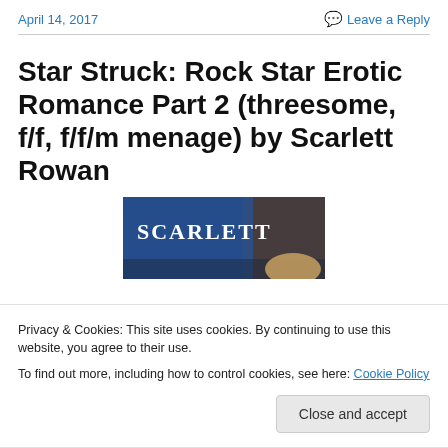April 14, 2017   Leave a Reply
Star Struck: Rock Star Erotic Romance Part 2 (threesome, f/f, f/f/m menage) by Scarlett Rowan
[Figure (photo): Book cover showing the word SCARLETT in white serif text on a dark blue background, with a hand visible at the bottom right]
Privacy & Cookies: This site uses cookies. By continuing to use this website, you agree to their use.
To find out more, including how to control cookies, see here: Cookie Policy
Close and accept